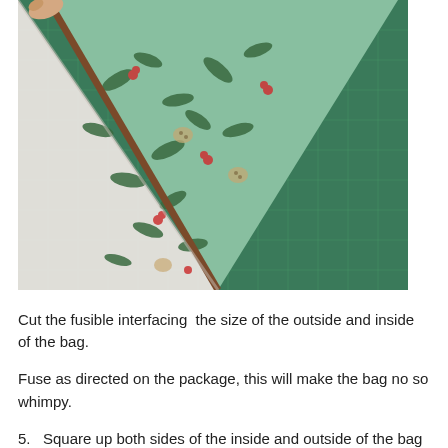[Figure (photo): A hand holding up a triangular piece of green floral patterned fabric (showing both the outside printed side and the white inside lining), laid on a green cutting mat with a grid.]
Cut the fusible interfacing  the size of the outside and inside of the bag.
Fuse as directed on the package, this will make the bag no so whimpy.
5.   Square up both sides of the inside and outside of the bag to match and sew the side seams of each.
      Box the corners by measuring about 2.25" up from